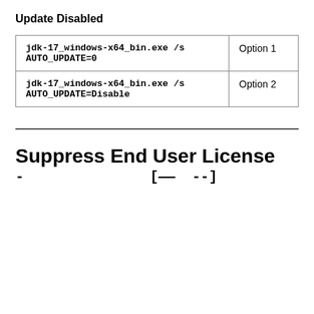Update Disabled
| Command | Label |
| --- | --- |
| jdk-17_windows-x64_bin.exe /s AUTO_UPDATE=0 | Option 1 |
| jdk-17_windows-x64_bin.exe /s AUTO_UPDATE=Disable | Option 2 |
Suppress End User License ...